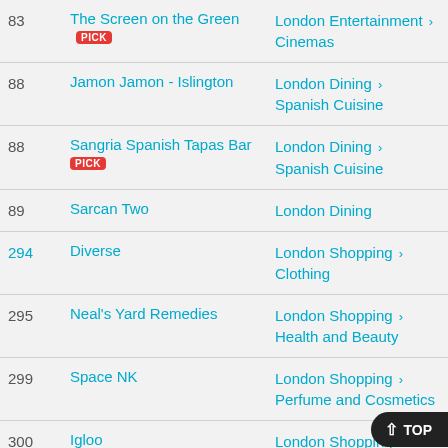83 | The Screen on the Green PICK | London Entertainment > Cinemas
88 | Jamon Jamon - Islington | London Dining > Spanish Cuisine
88 | Sangria Spanish Tapas Bar PICK | London Dining > Spanish Cuisine
89 | Sarcan Two | London Dining
294 | Diverse | London Shopping > Clothing
295 | Neal's Yard Remedies | London Shopping > Health and Beauty
299 | Space NK | London Shopping > Perfume and Cosmetics
300 | Igloo | London Shopping > Children's Gifts and...
301 | Pasha PICK | London Dining > Turkish